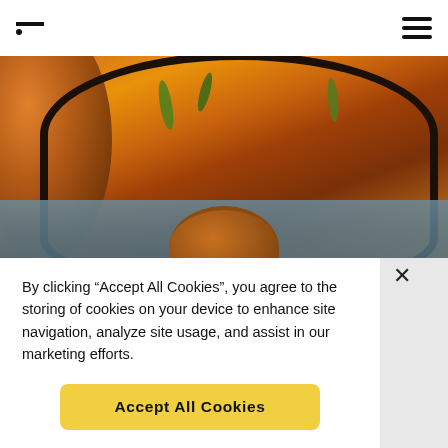Navigation bar with logo and hamburger menu
[Figure (photo): Overhead close-up photo of golden-brown stuffed cabbage rolls (sarma/dolma) in a dark cast iron pan, garnished with fresh dill, with copper pots and a blue textile cloth in the background]
By clicking “Accept All Cookies”, you agree to the storing of cookies on your device to enhance site navigation, analyze site usage, and assist in our marketing efforts.
Accept All Cookies